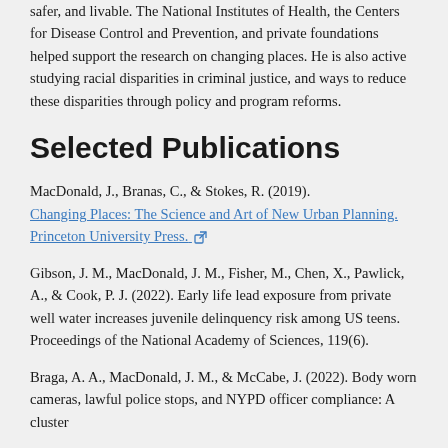safer, and livable. The National Institutes of Health, the Centers for Disease Control and Prevention, and private foundations helped support the research on changing places. He is also active studying racial disparities in criminal justice, and ways to reduce these disparities through policy and program reforms.
Selected Publications
MacDonald, J., Branas, C., & Stokes, R. (2019). Changing Places: The Science and Art of New Urban Planning. Princeton University Press.
Gibson, J. M., MacDonald, J. M., Fisher, M., Chen, X., Pawlick, A., & Cook, P. J. (2022). Early life lead exposure from private well water increases juvenile delinquency risk among US teens. Proceedings of the National Academy of Sciences, 119(6).
Braga, A. A., MacDonald, J. M., & McCabe, J. (2022). Body worn cameras, lawful police stops, and NYPD officer compliance: A cluster...